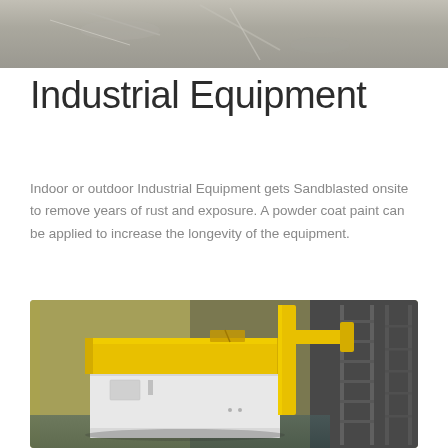[Figure (photo): Close-up photo of a concrete or asphalt surface with sandblasting texture, gray tones]
Industrial Equipment
Indoor or outdoor Industrial Equipment gets Sandblasted onsite to remove years of rust and exposure. A powder coat paint can be applied to increase the longevity of the equipment.
[Figure (photo): Photo of industrial equipment painted yellow and white inside a workshop, with a yellow frame structure on top of a white cabinet unit. Ladders visible in the background.]